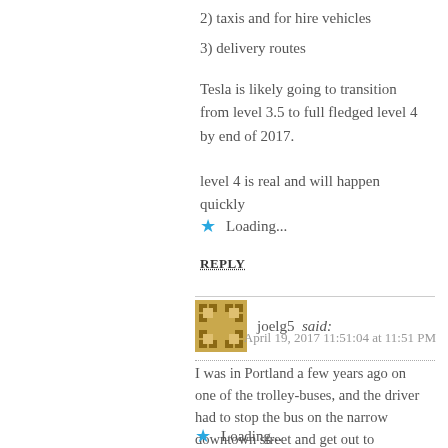2) taxis and for hire vehicles
3) delivery routes
Tesla is likely going to transition from level 3.5 to full fledged level 4 by end of 2017.
level 4 is real and will happen quickly
Loading...
REPLY
joelg5 said:
April 19, 2017 11:51:04 at 11:51 PM
I was in Portland a few years ago on one of the trolley-buses, and the driver had to stop the bus on the narrow downtown street and get out to physically move a truck rear-view mirror out of the way so that the bus could pass without hitting it.
Loading...